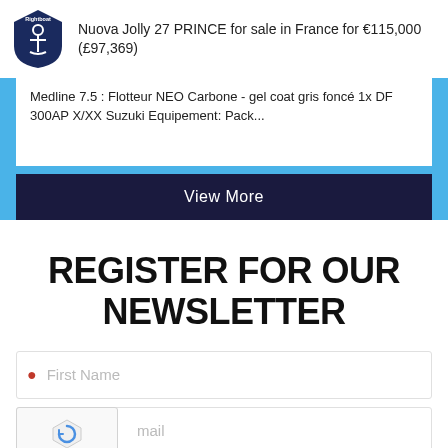[Figure (logo): Rightboat anchor shield logo in navy blue]
Nuova Jolly 27 PRINCE for sale in France for €115,000 (£97,369)
Medline 7.5 : Flotteur NEO Carbone - gel coat gris foncé 1x DF 300AP X/XX Suzuki Equipement: Pack...
View More
REGISTER FOR OUR NEWSLETTER
First Name
mail